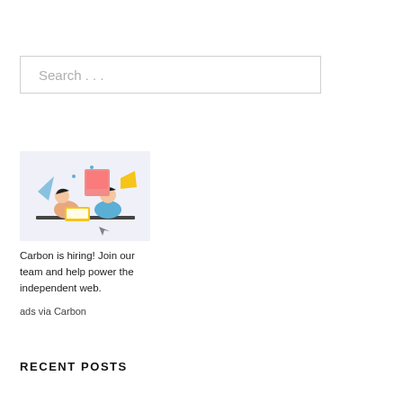Search ...
[Figure (illustration): Two people working at a desk with laptops and office items, illustration in blue and pink tones on a light purple background]
Carbon is hiring! Join our team and help power the independent web.
ads via Carbon
RECENT POSTS